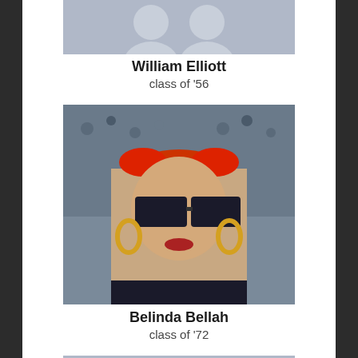[Figure (illustration): Grey placeholder silhouette image for William Elliott, partially visible at top]
William Elliott
class of '56
[Figure (photo): Photo of Belinda Bellah wearing red headband/bow, large sunglasses, and gold hoop earrings]
Belinda Bellah
class of '72
[Figure (illustration): Grey placeholder silhouette image (female) for Rik Dubuisson]
Rik Dubuisson
class of '04
[Figure (illustration): Grey placeholder silhouette image partially visible at bottom of page]